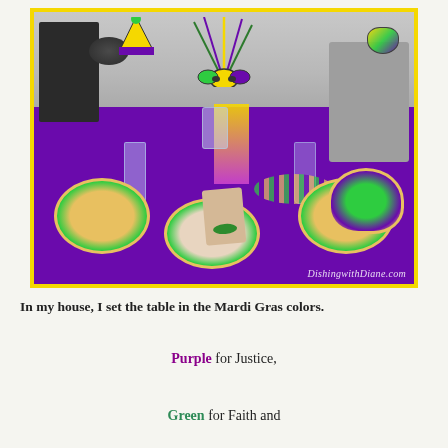[Figure (photo): A Mardi Gras themed table setting with purple tablecloth, gold-rimmed plates with colorful Mardi Gras designs, wine glasses, beads, feathered centerpiece with masks in purple/gold/green, sequined decorations, napkins with green napkin rings, and a large Mardi Gras crown ornament. The photo has a yellow-green border. Watermark reads DishingwithDiane.com]
In my house, I set the table in the Mardi Gras colors.
Purple for Justice,
Green for Faith and